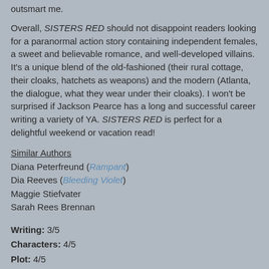outsmart me.
Overall, SISTERS RED should not disappoint readers looking for a paranormal action story containing independent females, a sweet and believable romance, and well-developed villains. It's a unique blend of the old-fashioned (their rural cottage, their cloaks, hatchets as weapons) and the modern (Atlanta, the dialogue, what they wear under their cloaks). I won't be surprised if Jackson Pearce has a long and successful career writing a variety of YA. SISTERS RED is perfect for a delightful weekend or vacation read!
Similar Authors
Diana Peterfreund (Rampant)
Dia Reeves (Bleeding Violet)
Maggie Stiefvater
Sarah Rees Brennan
Writing: 3/5
Characters: 4/5
Plot: 4/5